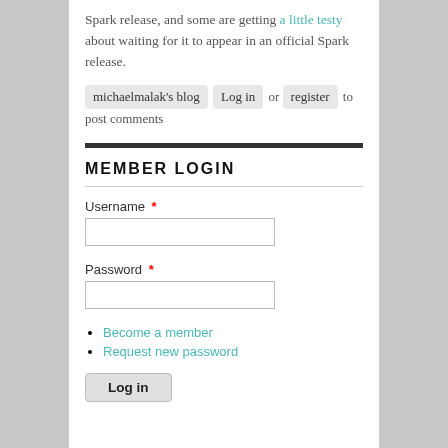Spark release, and some are getting a little testy about waiting for it to appear in an official Spark release.
michaelmalak's blog  Log in  or  register  to post comments
MEMBER LOGIN
Username *
Password *
Become a member
Request new password
Log in